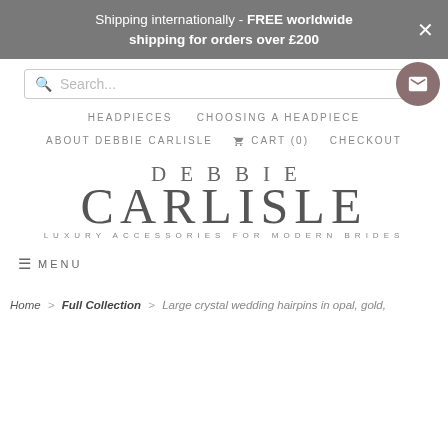Shipping internationally - FREE worldwide shipping for orders over £200
Search...
HEADPIECES   CHOOSING A HEADPIECE
ABOUT DEBBIE CARLISLE   🛒 CART (0)   CHECKOUT
DEBBIE CARLISLE — LUXURY ACCESSORIES FOR MODERN BRIDES
MENU
Home > Full Collection > Large crystal wedding hairpins in opal, gold,